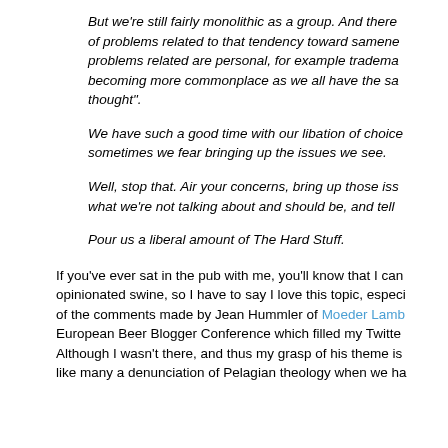But we're still fairly monolithic as a group. And there of problems related to that tendency toward sameness. problems related are personal, for example tradema becoming more commonplace as we all have the sa thought".
We have such a good time with our libation of choice sometimes we fear bringing up the issues we see.
Well, stop that. Air your concerns, bring up those iss what we're not talking about and should be, and tell
Pour us a liberal amount of The Hard Stuff.
If you've ever sat in the pub with me, you'll know that I can opinionated swine, so I have to say I love this topic, especially of the comments made by Jean Hummler of Moeder Lamb European Beer Blogger Conference which filled my Twitter Although I wasn't there, and thus my grasp of his theme is like many a denunciation of Pelagian theology when we ha